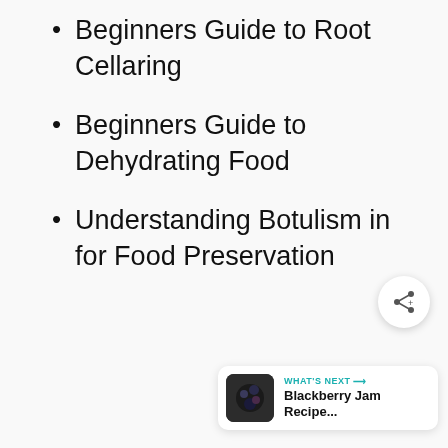Beginners Guide to Root Cellaring
Beginners Guide to Dehydrating Food
Understanding Botulism in for Food Preservation